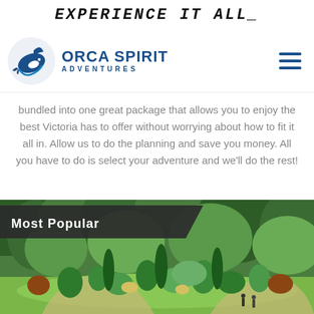EXPERIENCE IT ALL
[Figure (logo): Orca Spirit Adventures logo with orca whale icon and text ORCA SPIRIT ADVENTURES in blue]
bundled into one great package that allows you to enjoy the best Victoria has to offer without worrying about how to fit it all in. Allow us to do the planning and save you money. All you have to do is select your adventure and we'll do the rest!
[Figure (photo): Aerial view of lush green botanical garden with manicured trees, shrubs, winding paths, and forested hillside in the background. 'Most Popular' label overlaid in dark banner at top left.]